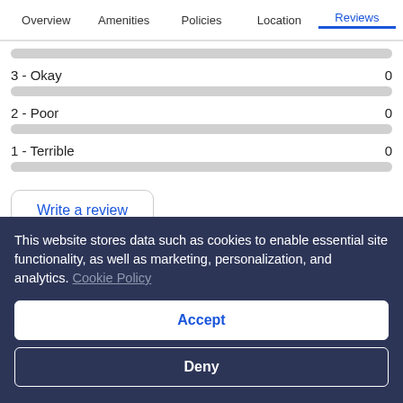Overview  Amenities  Policies  Location  Reviews
3 - Okay  0
2 - Poor  0
1 - Terrible  0
Write a review
This website stores data such as cookies to enable essential site functionality, as well as marketing, personalization, and analytics. Cookie Policy
Accept
Deny